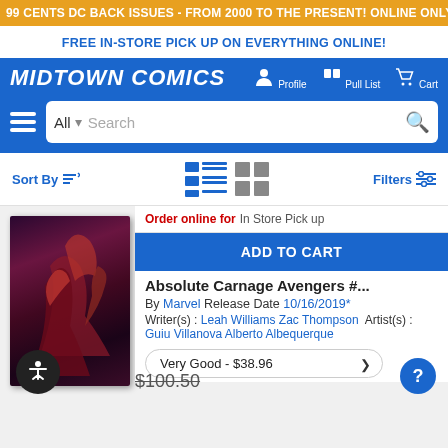99 CENTS DC BACK ISSUES - FROM 2000 TO THE PRESENT! ONLINE ONLY, TODAY ONLY!
FREE IN-STORE PICK UP ON EVERYTHING ONLINE!
[Figure (logo): Midtown Comics logo with navigation icons for Profile, Pull List, Cart]
[Figure (screenshot): Search bar with All dropdown and search input]
[Figure (infographic): Toolbar with Sort By, list/grid view toggle icons, and Filters]
Order online for In Store Pick up
ADD TO CART
Absolute Carnage Avengers #...
By Marvel Release Date 10/16/2019*
Writer(s) : Leah Williams Zac Thompson  Artist(s) : Guiu Villanova Alberto Albequerque
Very Good - $38.96
[Figure (illustration): Comic book cover image for Absolute Carnage Avengers featuring dark red and purple tones with superhero figures]
$100.50